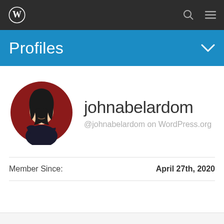[Figure (screenshot): WordPress navigation bar with dark background, WordPress logo on left, search icon and hamburger menu on right]
Profiles
[Figure (illustration): User avatar showing a cartoon person with long dark hair, arms crossed, against a dark red circular background]
johnabelardom
@johnabelardom on WordPress.org
Member Since: April 27th, 2020